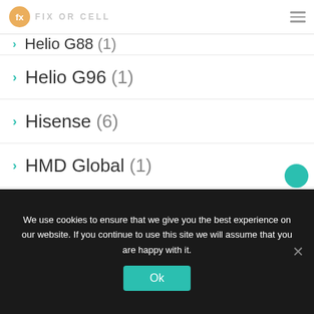FIX OR CELL
Helio G88 (1)
Helio G96 (1)
Hisense (6)
HMD Global (1)
HomePod (1)
Honor (6)
Honor Magic 3 (2)
Honor Watch GS 3 (1)
We use cookies to ensure that we give you the best experience on our website. If you continue to use this site we will assume that you are happy with it.